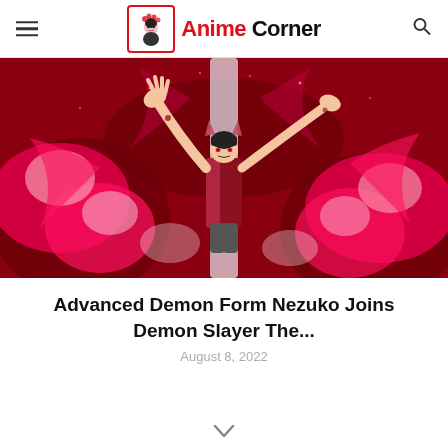Anime Corner
[Figure (illustration): Anime scene showing Nezuko in her advanced demon form, surrounded by swirling red flames and pink/white energy. She has demon horns, is wearing a kimono, and is reaching upward dramatically against a dark red background.]
Advanced Demon Form Nezuko Joins Demon Slayer The...
August 8, 2022